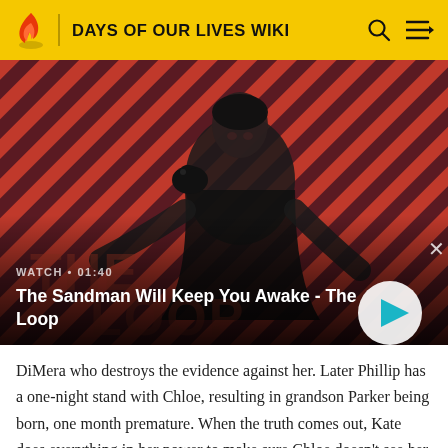DAYS OF OUR LIVES WIKI
[Figure (screenshot): Video thumbnail showing a dark figure with a raven on shoulder against red and dark diagonal striped background. Title: 'The Sandman Will Keep You Awake - The Loop'. Watch duration: 01:40.]
DiMera who destroys the evidence against her. Later Phillip has a one-night stand with Chloe, resulting in grandson Parker being born, one month premature. When the truth comes out, Kate does everything in her power to make sure Chloe doesn't see her son, including driving her